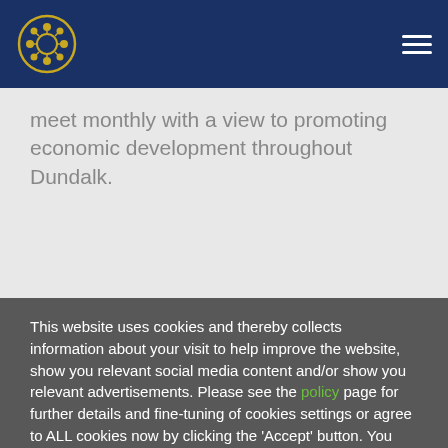Dundalk logo and navigation header
meet monthly with a view to promoting economic development throughout Dundalk.
This website uses cookies and thereby collects information about your visit to help improve the website, show you relevant social media content and/or show you relevant advertisements. Please see the policy page for further details and fine-tuning of cookies settings or agree to ALL cookies now by clicking the 'Accept' button. You can of course revoke your consent at any time in the future via the same policy page.